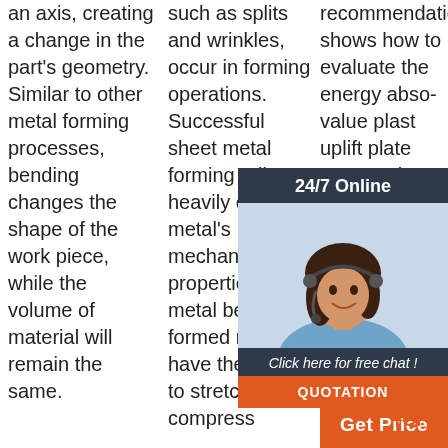an axis, creating a change in the part's geometry. Similar to other metal forming processes, bending changes the shape of the work piece, while the volume of material will remain the same.
such as splits and wrinkles, occur in forming operations. Successful sheet metal forming relies heavily on the metal's mechanical properties. The metal being formed must have the ability to stretch and compress
recommendation shows how to evaluate the energy absorption value of plastic uplift plates in unanchored tanks, as the of an anchored cylindrical steel-wall tank
[Figure (photo): 24/7 Online chat widget with photo of woman wearing headset, 'Click here for free chat!' text, and QUOTATION button]
[Figure (other): TOP scroll-to-top button with orange dots pattern]
Get Price